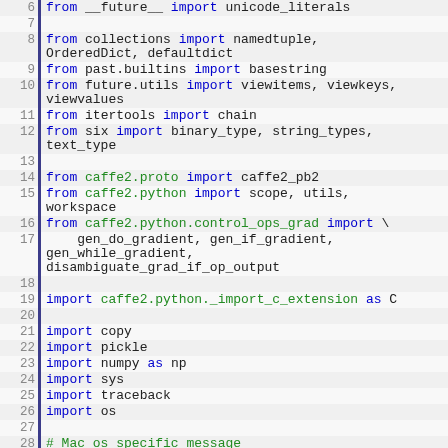[Figure (screenshot): Python source code snippet showing import statements and conditional logic for caffe2, collections, and system libraries, with syntax highlighting (line numbers 6-31 visible).]